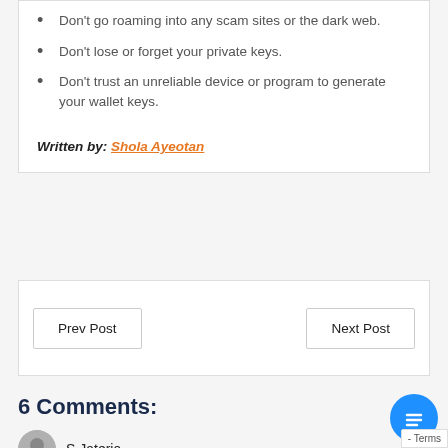Don't go roaming into any scam sites or the dark web.
Don't lose or forget your private keys.
Don't trust an unreliable device or program to generate your wallet keys.
Written by: Shola Ayeotan
Prev Post
Next Post
6 Comments:
S Jateria